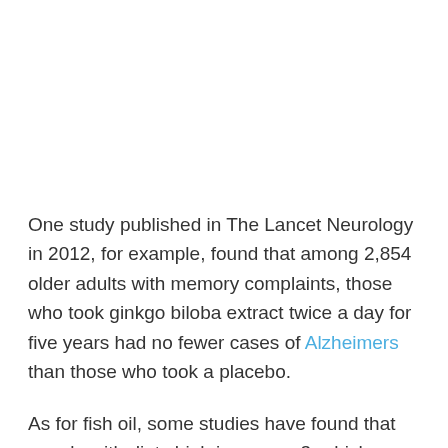One study published in The Lancet Neurology in 2012, for example, found that among 2,854 older adults with memory complaints, those who took ginkgo biloba extract twice a day for five years had no fewer cases of Alzheimers than those who took a placebo.
As for fish oil, some studies have found that people with diets high in omega-3swhich are found in fatty fish such as salmon may have a lower risk of dementia . But